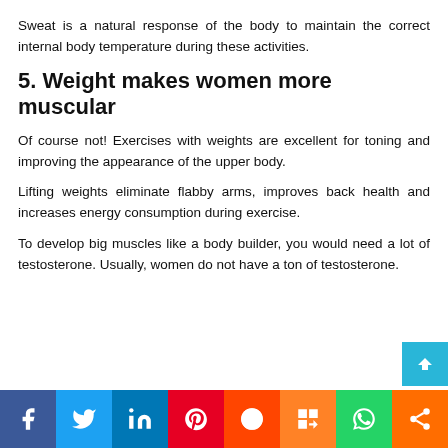Sweat is a natural response of the body to maintain the correct internal body temperature during these activities.
5. Weight makes women more muscular
Of course not! Exercises with weights are excellent for toning and improving the appearance of the upper body.
Lifting weights eliminate flabby arms, improves back health and increases energy consumption during exercise.
To develop big muscles like a body builder, you would need a lot of testosterone. Usually, women do not have a ton of testosterone.
[Figure (other): Social media share bar with icons for Facebook, Twitter, LinkedIn, Pinterest, Reddit, Mix, WhatsApp, and share button]